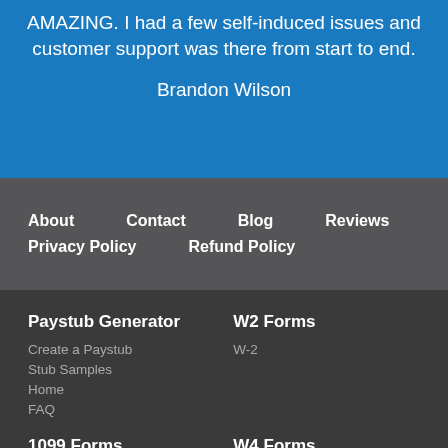AMAZING. I had a few self-induced issues and customer support was there from start to end.
Brandon Wilson
About   Contact   Blog   Reviews   Privacy Policy   Refund Policy
Paystub Generator
Create a Paystub
Stub Samples
Home
FAQ
W2 Forms
W-2
1099 Forms
W4 Forms
1099-MISC
W-4